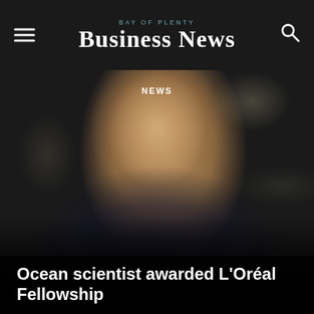Bay of Plenty Business News
[Figure (photo): Portrait photograph of a woman with brown hair pulled back, wearing a dark hoodie jacket, looking upward and to the right, with a blurred outdoor background of dry grass and a building.]
NEWS
Ocean scientist awarded L'Oréal Fellowship